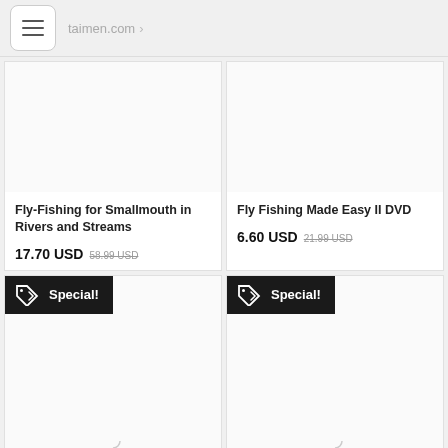taimen.com
Fly-Fishing for Smallmouth in Rivers and Streams
17.70 USD  58.99 USD
Fly Fishing Made Easy II DVD
6.60 USD  21.99 USD
Special!
Special!